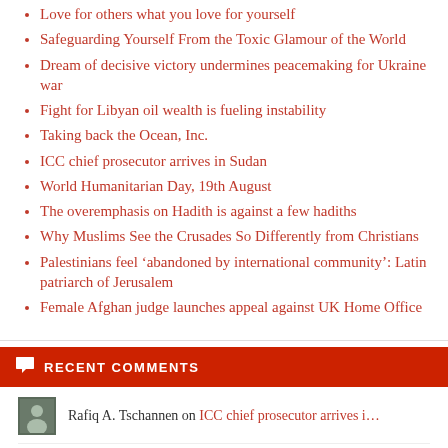Love for others what you love for yourself
Safeguarding Yourself From the Toxic Glamour of the World
Dream of decisive victory undermines peacemaking for Ukraine war
Fight for Libyan oil wealth is fueling instability
Taking back the Ocean, Inc.
ICC chief prosecutor arrives in Sudan
World Humanitarian Day, 19th August
The overemphasis on Hadith is against a few hadiths
Why Muslims See the Crusades So Differently from Christians
Palestinians feel 'abandoned by international community': Latin patriarch of Jerusalem
Female Afghan judge launches appeal against UK Home Office
RECENT COMMENTS
Rafiq A. Tschannen on ICC chief prosecutor arrives i...
Somitempo on How Israel's 'terror' lies bac...